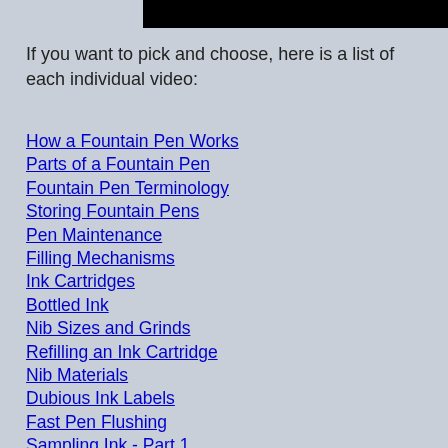[Figure (other): Black bar image/banner at top of page]
If you want to pick and choose, here is a list of each individual video:
How a Fountain Pen Works
Parts of a Fountain Pen
Fountain Pen Terminology
Storing Fountain Pens
Pen Maintenance
Filling Mechanisms
Ink Cartridges
Bottled Ink
Nib Sizes and Grinds
Refilling an Ink Cartridge
Nib Materials
Dubious Ink Labels
Fast Pen Flushing
Sampling Ink - Part 1
Sampling Ink - Part 2
Flying with Fountain Pens
Fountain Pens for Students